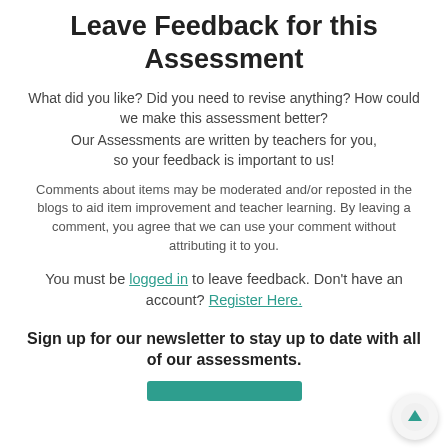Leave Feedback for this Assessment
What did you like? Did you need to revise anything? How could we make this assessment better?
Our Assessments are written by teachers for you, so your feedback is important to us!
Comments about items may be moderated and/or reposted in the blogs to aid item improvement and teacher learning. By leaving a comment, you agree that we can use your comment without attributing it to you.
You must be logged in to leave feedback. Don't have an account? Register Here.
Sign up for our newsletter to stay up to date with all of our assessments.